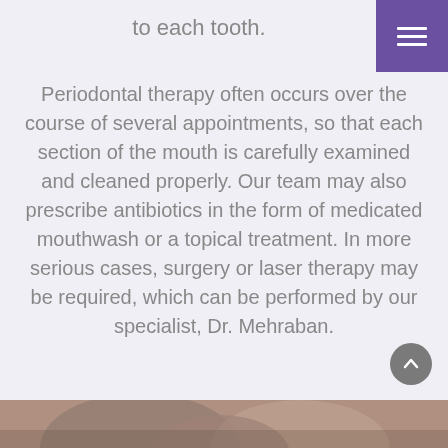to each tooth.
Periodontal therapy often occurs over the course of several appointments, so that each section of the mouth is carefully examined and cleaned properly. Our team may also prescribe antibiotics in the form of medicated mouthwash or a topical treatment. In more serious cases, surgery or laser therapy may be required, which can be performed by our specialist, Dr. Mehraban.
[Figure (photo): Bottom portion of a photo showing people, partially visible at the bottom of the page.]